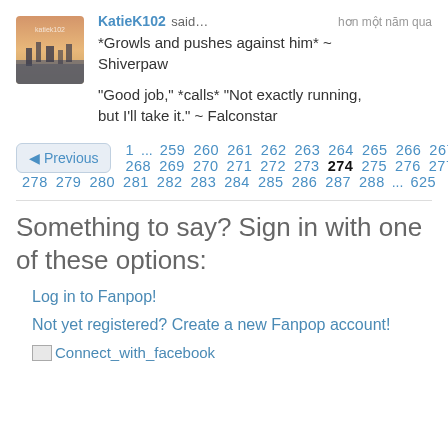[Figure (photo): User avatar thumbnail image for KatieK102, showing a cityscape/landscape photo with warm tones]
KatieK102 said… hơn một năm qua
*Growls and pushes against him* ~ Shiverpaw

"Good job," *calls* "Not exactly running, but I'll take it." ~ Falconstar
Previous  1 ... 259 260 261 262 263 264 265 266 267 268 269 270 271 272 273 274 275 276 277 278 279 280 281 282 283 284 285 286 287 288 ... 625
Something to say? Sign in with one of these options:
Log in to Fanpop!
Not yet registered? Create a new Fanpop account!
Connect_with_facebook